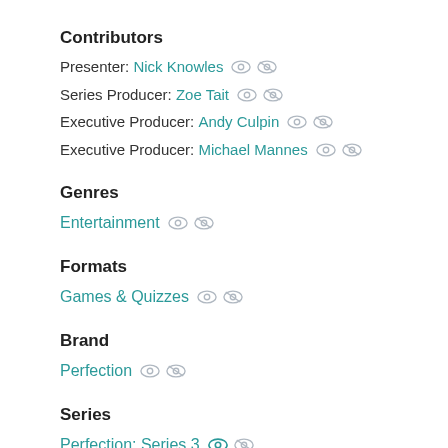Contributors
Presenter: Nick Knowles
Series Producer: Zoe Tait
Executive Producer: Andy Culpin
Executive Producer: Michael Mannes
Genres
Entertainment
Formats
Games & Quizzes
Brand
Perfection
Series
Perfection: Series 3